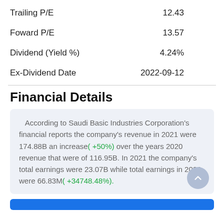| Metric | Value |
| --- | --- |
| Trailing P/E | 12.43 |
| Foward P/E | 13.57 |
| Dividend (Yield %) | 4.24% |
| Ex-Dividend Date | 2022-09-12 |
Financial Details
According to Saudi Basic Industries Corporation's financial reports the company's revenue in 2021 were 174.88B an increase( +50%) over the years 2020 revenue that were of 116.95B. In 2021 the company's total earnings were 23.07B while total earnings in 2020 were 66.83M( +34748.48%).